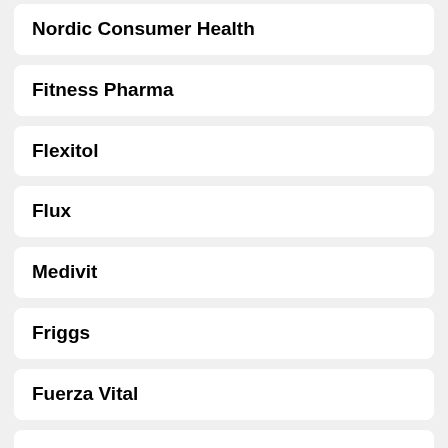Nordic Consumer Health
Fitness Pharma
Flexitol
Flux
Medivit
Friggs
Fuerza Vital
Functional Nutrition